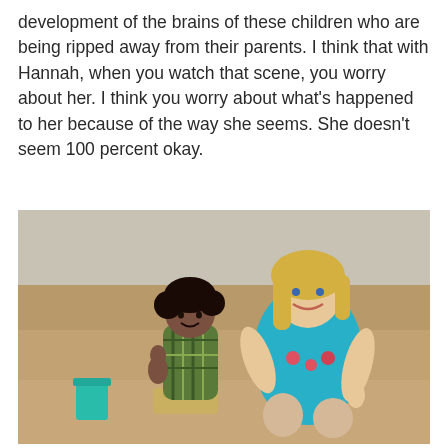development of the brains of these children who are being ripped away from their parents. I think that with Hannah, when you watch that scene, you worry about her. I think you worry about what's happened to her because of the way she seems. She doesn't seem 100 percent okay.
[Figure (photo): A young woman with blonde hair wearing a teal/turquoise top and a young boy with curly dark hair wearing a plaid shirt, both kneeling on a sandy beach. A teal bucket and sandcastle are visible in front of them. Both are smiling and appear to be playing in the sand.]